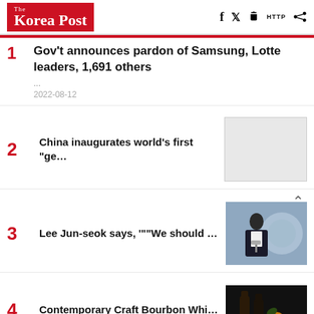The Korea Post
Gov't announces pardon of Samsung, Lotte leaders, 1,691 others
...
2022-08-12
China inaugurates world's first "ge…
[Figure (photo): Empty/placeholder thumbnail for article 2]
Lee Jun-seok says, '"We should …
[Figure (photo): Photo of Lee Jun-seok speaking at a podium with a blue background and official emblem]
Contemporary Craft Bourbon Whi…
[Figure (photo): Dark background photo of bourbon whiskey bottles]